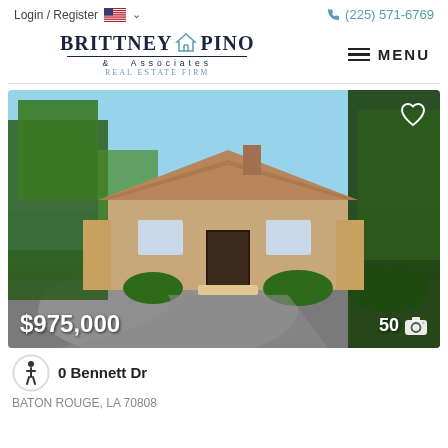Login / Register  (225) 571-6769
[Figure (logo): Brittney Pino & Associates Real Estate Firm logo with house icon]
[Figure (photo): Exterior photo of a brick ranch-style home with circular driveway, surrounded by mature trees and lush landscaping on a sunny day. Price overlay: $975,000. Photo count: 50.]
0 Bennett Dr
BATON ROUGE, LA 70808